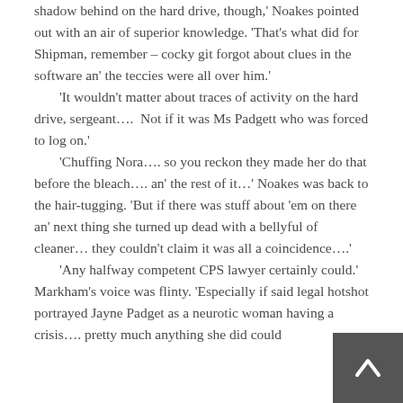shadow behind on the hard drive, though,' Noakes pointed out with an air of superior knowledge. 'That's what did for Shipman, remember – cocky git forgot about clues in the software an' the teccies were all over him.' 'It wouldn't matter about traces of activity on the hard drive, sergeant….  Not if it was Ms Padgett who was forced to log on.' 'Chuffing Nora…. so you reckon they made her do that before the bleach…. an' the rest of it…' Noakes was back to the hair-tugging. 'But if there was stuff about 'em on there an' next thing she turned up dead with a bellyful of cleaner… they couldn't claim it was all a coincidence….' 'Any halfway competent CPS lawyer certainly could.' Markham's voice was flinty. 'Especially if said legal hotshot portrayed Jayne Padget as a neurotic woman having a crisis…. pretty much anything she did could